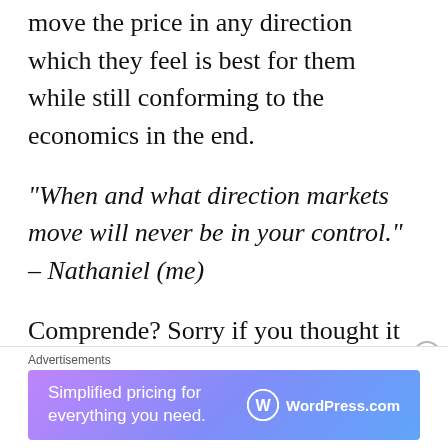move the price in any direction which they feel is best for them while still conforming to the economics in the end.
“When and what direction markets move will never be in your control.” – Nathaniel (me)
Comprende? Sorry if you thought it was brief but you have more than enough information to head out and read a little more. At least you now understand that
[Figure (other): WordPress.com advertisement banner with gradient purple-blue background. Text reads 'Simplified pricing for everything you need.' with WordPress.com logo on the right.]